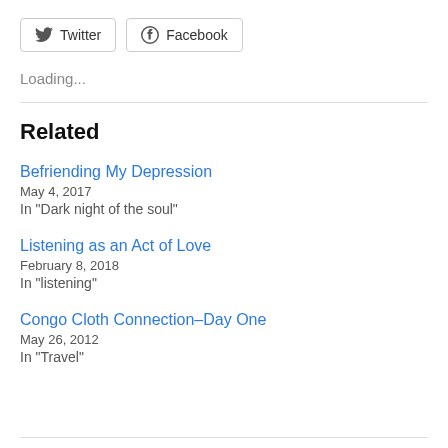[Figure (other): Twitter and Facebook share buttons]
Loading...
Related
Befriending My Depression
May 4, 2017
In "Dark night of the soul"
Listening as an Act of Love
February 8, 2018
In "listening"
Congo Cloth Connection–Day One
May 26, 2012
In "Travel"